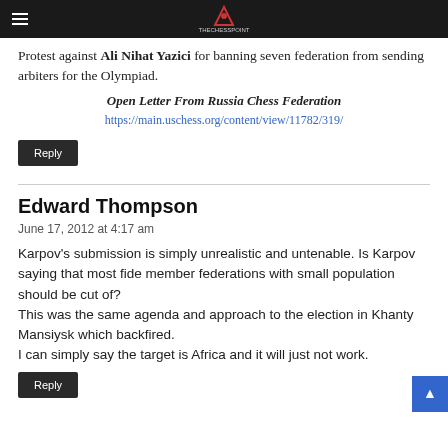TheChessPoint header with logo
Protest against Ali Nihat Yazici for banning seven federation from sending arbiters for the Olympiad.
Open Letter From Russia Chess Federation
https://main.uschess.org/content/view/11782/319/
Reply
Edward Thompson
June 17, 2012 at 4:17 am
Karpov's submission is simply unrealistic and untenable. Is Karpov saying that most fide member federations with small population should be cut of?
This was the same agenda and approach to the election in Khanty Mansiysk which backfired.
I can simply say the target is Africa and it will just not work.